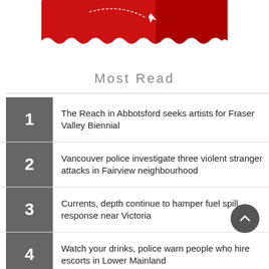[Figure (illustration): Partial view of a red illustrated graphic at the top of the page, cropped, showing red shapes with white cloud-like edges on a white background.]
Most Read
1 The Reach in Abbotsford seeks artists for Fraser Valley Biennial
2 Vancouver police investigate three violent stranger attacks in Fairview neighbourhood
3 Currents, depth continue to hamper fuel spill response near Victoria
4 Watch your drinks, police warn people who hire escorts in Lower Mainland
5 Calgary man convicted in multimillion dollar Ponzi scheme sentenced to 10 years